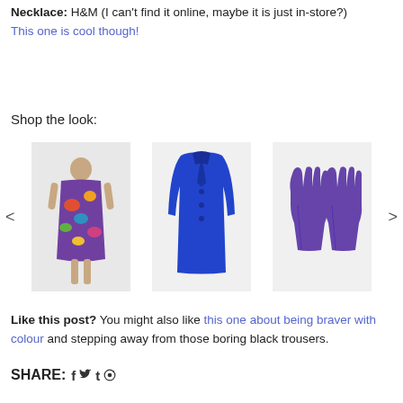Necklace: H&M (I can't find it online, maybe it is just in-store?) This one is cool though!
Shop the look:
[Figure (photo): Carousel of three product images: a floral dress worn by a model, a blue long coat, and a pair of purple leather gloves, with left and right navigation arrows.]
Like this post? You might also like this one about being braver with colour and stepping away from those boring black trousers.
SHARE: f t @